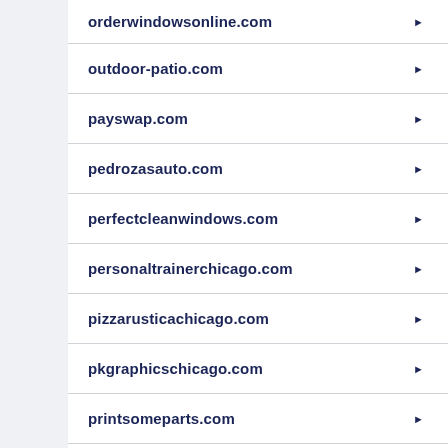orderwindowsonline.com
outdoor-patio.com
payswap.com
pedrozasauto.com
perfectcleanwindows.com
personaltrainerchicago.com
pizzarusticachicago.com
pkgraphicschicago.com
printsomeparts.com
prostaffplumbing.com